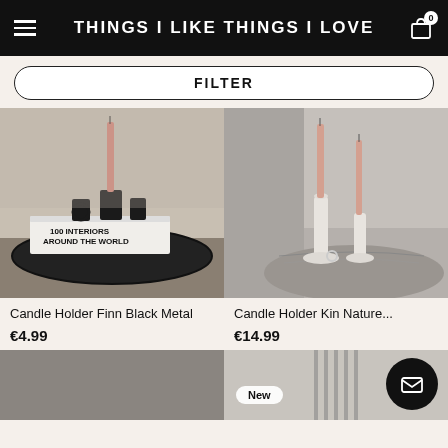THINGS I LIKE THINGS I LOVE
FILTER
[Figure (photo): Black metal candle holders on a tray with a book titled '100 Interiors Around the World']
Candle Holder Finn Black Metal
€4.99
[Figure (photo): White ceramic candle holders with tall pink candles on a marble surface with grey sofa in background]
Candle Holder Kin Nature...
€14.99
[Figure (photo): Partial view of a grey/taupe product at bottom left]
[Figure (photo): Partial view of product with 'New' badge at bottom right]